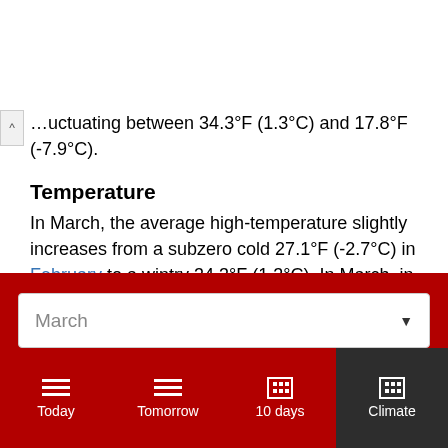…uctuating between 34.3°F (1.3°C) and 17.8°F (-7.9°C).
Temperature
In March, the average high-temperature slightly increases from a subzero cold 27.1°F (-2.7°C) in February to a wintry 34.3°F (1.3°C). In March, in Anaconda, the average low-temperature is 17.8°F (-7.9°C).
Humidity